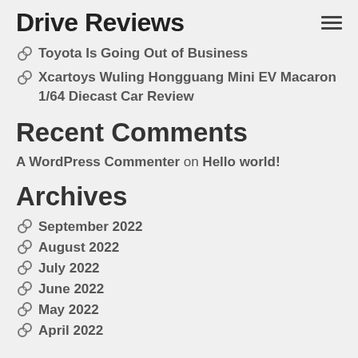Drive Reviews
Toyota Is Going Out of Business
Xcartoys Wuling Hongguang Mini EV Macaron 1/64 Diecast Car Review
Recent Comments
A WordPress Commenter on Hello world!
Archives
September 2022
August 2022
July 2022
June 2022
May 2022
April 2022